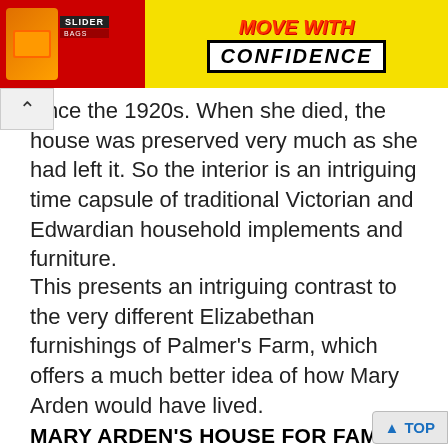[Figure (other): Advertisement banner with yellow background showing 'Move with Confidence' text and a red product box labeled Slider]
since the 1920s. When she died, the house was preserved very much as she had left it. So the interior is an intriguing time capsule of traditional Victorian and Edwardian household implements and furniture.
This presents an intriguing contrast to the very different Elizabethan furnishings of Palmer's Farm, which offers a much better idea of how Mary Arden would have lived.
MARY ARDEN'S HOUSE FOR FAMILIES
Aside from the domestic buildings and rural life displays, there is quite a lot for families to explore; there is a pigsty - featuring some very